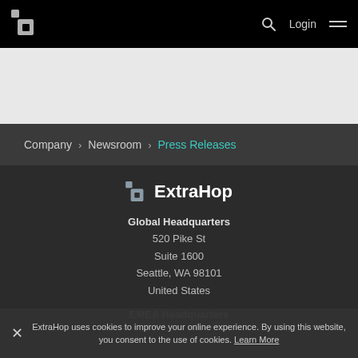[Figure (logo): ExtraHop logo in white on black navigation bar, with search icon, Login text, and hamburger menu]
[Figure (illustration): Light gray banner area below navigation bar]
Company › Newsroom › Press Releases
[Figure (logo): ExtraHop logo centered, white text with icon, on dark background]
Global Headquarters
520 Pike St
Suite 1600
Seattle, WA 98101
United States
EMEA Headquarters
ExtraHop uses cookies to improve your online experience. By using this website, you consent to the use of cookies. Learn More